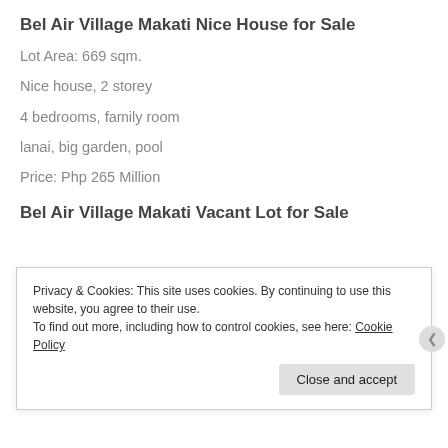Bel Air Village Makati Nice House for Sale
Lot Area: 669 sqm.
Nice house, 2 storey
4 bedrooms, family room
lanai, big garden, pool
Price: Php 265 Million
Bel Air Village Makati Vacant Lot for Sale
Privacy & Cookies: This site uses cookies. By continuing to use this website, you agree to their use.
To find out more, including how to control cookies, see here: Cookie Policy